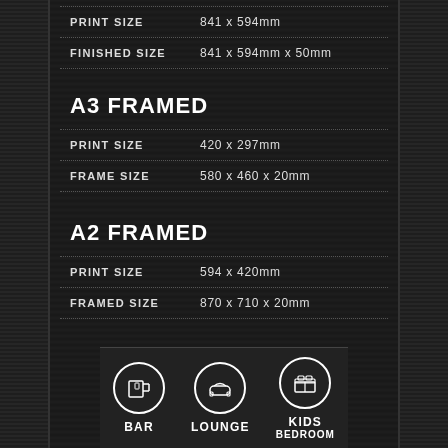| PRINT SIZE | 841 x 594mm |
| --- | --- |
| FINISHED SIZE | 841 x 594mm x 50mm |
| --- | --- |
A3 FRAMED
| PRINT SIZE | 420 x 297mm |
| --- | --- |
| FRAME SIZE | 580 x 460 x 20mm |
| --- | --- |
A2 FRAMED
| PRINT SIZE | 594 x 420mm |
| --- | --- |
| FRAMED SIZE | 870 x 710 x 20mm |
| --- | --- |
[Figure (illustration): Three icons in circles: BAR (beer mug), LOUNGE (sofa/couch), KIDS BEDROOM (bed)]